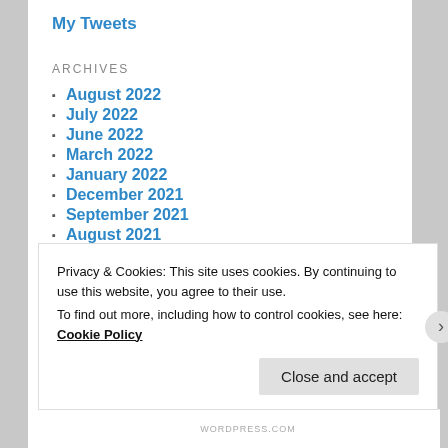My Tweets
ARCHIVES
August 2022
July 2022
June 2022
March 2022
January 2022
December 2021
September 2021
August 2021
July 2021
June 2021
May 2021
Privacy & Cookies: This site uses cookies. By continuing to use this website, you agree to their use. To find out more, including how to control cookies, see here: Cookie Policy
WORDPRESS.COM